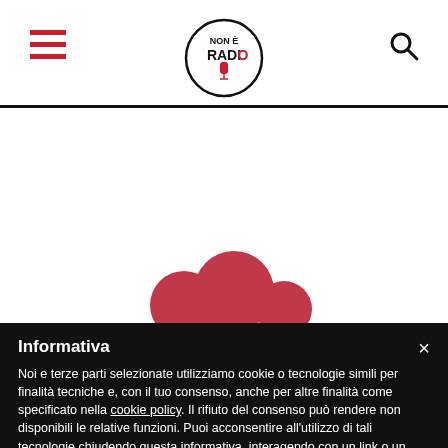Non è Radio — navigation header with hamburger menu and search icon
[Figure (illustration): Three dark red/crimson circles of varying sizes arranged in a row at the bottom of a white area, simulating a loading animation]
Informativa
Noi e terze parti selezionate utilizziamo cookie o tecnologie simili per finalità tecniche e, con il tuo consenso, anche per altre finalità come specificato nella cookie policy. Il rifiuto del consenso può rendere non disponibili le relative funzioni. Puoi acconsentire all'utilizzo di tali tecnologie chiudendo questa informativa, interagendo con un link o un pulsante al di fuori di questa informativa o continuando a navigare in altro modo.